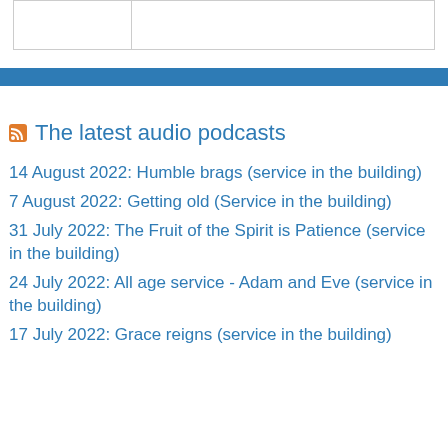|  |  |
| --- | --- |
|  |  |
The latest audio podcasts
14 August 2022: Humble brags (service in the building)
7 August 2022: Getting old (Service in the building)
31 July 2022: The Fruit of the Spirit is Patience (service in the building)
24 July 2022: All age service - Adam and Eve (service in the building)
17 July 2022: Grace reigns (service in the building)